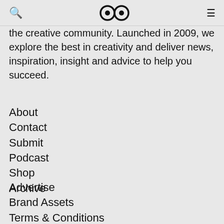Search | Logo | Menu
the creative community. Launched in 2009, we explore the best in creativity and deliver news, inspiration, insight and advice to help you succeed.
About
Contact
Submit
Podcast
Shop
Archive
Advertise
Brand Assets
Terms & Conditions